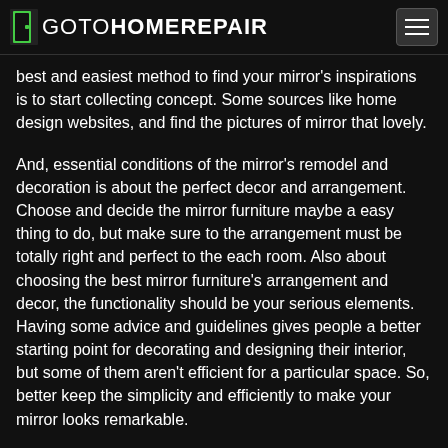GOTOHOMEREPAIR
best and easiest method to find your mirror's inspirations is to start collecting concept. Some sources like home design websites, and find the pictures of mirror that lovely.
And, essential conditions of the mirror's remodel and decoration is about the perfect decor and arrangement. Choose and decide the mirror furniture maybe a easy thing to do, but make sure to the arrangement must be totally right and perfect to the each room. Also about choosing the best mirror furniture's arrangement and decor, the functionality should be your serious elements. Having some advice and guidelines gives people a better starting point for decorating and designing their interior, but some of them aren't efficient for a particular space. So, better keep the simplicity and efficiently to make your mirror looks remarkable.
In short, if you're remodeling or decorating your house, great concept is in the details. You can ask to the home planner or get the beautiful ideas for whole space from home design website, magazines, etc. At last, check out these photos of